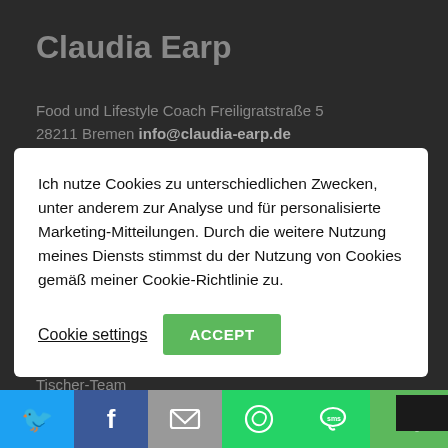Claudia Earp
Food und Lifestyle Coach Freiligratstraße 5
28211 Bremen info@claudia-earp.de
Ich nutze Cookies zu unterschiedlichen Zwecken, unter anderem zur Analyse und für personalisierte Marketing-Mitteilungen. Durch die weitere Nutzung meines Diensts stimmst du der Nutzung von Cookies gemäß meiner Cookie-Richtlinie zu.
Cookie settings   ACCEPT
Palmtherapy
Ina Asmus-Brütt
Tischer-Team
[Figure (infographic): Social share bar with Twitter, Facebook, Email, WhatsApp, SMS, and share icons]